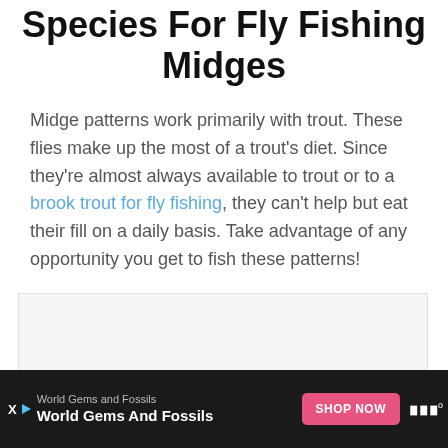Species For Fly Fishing Midges
Midge patterns work primarily with trout. These flies make up the most of a trout's diet. Since they're almost always available to trout or to a brook trout for fly fishing, they can't help but eat their fill on a daily basis. Take advantage of any opportunity you get to fish these patterns!
[Figure (other): Advertisement placeholder box (light gray rectangle)]
World Gems and Fossils | World Gems And Fossils | SHOP NOW